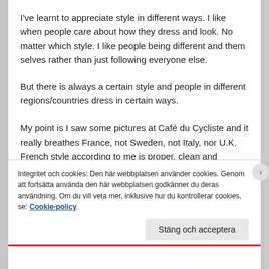I've learnt to appreciate style in different ways. I like when people care about how they dress and look. No matter which style. I like people being different and them selves rather than just following everyone else.
But there is always a certain style and people in different regions/countries dress in certain ways.
My point is I saw some pictures at Café du Cycliste and it really breathes France, not Sweden, not Italy, nor U.K. French style according to me is proper, clean and sometimes a bit old fashioned but straight lines and they aren't afraid of using soft colors. Not bright screaming like Italy. But like this:
Integritet och cookies: Den här webbplatsen använder cookies. Genom att fortsätta använda den här webbplatsen godkänner du deras användning. Om du vill veta mer, inklusive hur du kontrollerar cookies, se: Cookie-policy